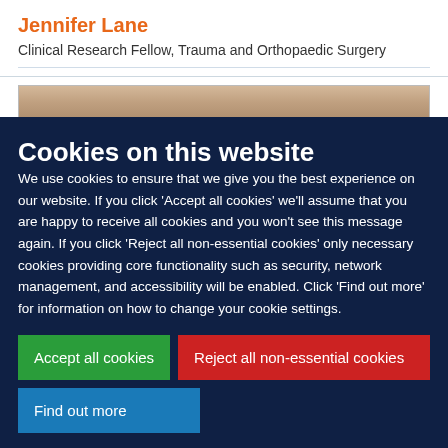Jennifer Lane
Clinical Research Fellow, Trauma and Orthopaedic Surgery
[Figure (photo): Partial image strip showing a person, cropped at top of cookie overlay]
Cookies on this website
We use cookies to ensure that we give you the best experience on our website. If you click 'Accept all cookies' we'll assume that you are happy to receive all cookies and you won't see this message again. If you click 'Reject all non-essential cookies' only necessary cookies providing core functionality such as security, network management, and accessibility will be enabled. Click 'Find out more' for information on how to change your cookie settings.
Accept all cookies
Reject all non-essential cookies
Find out more